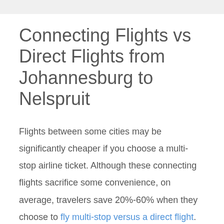Connecting Flights vs Direct Flights from Johannesburg to Nelspruit
Flights between some cities may be significantly cheaper if you choose a multi-stop airline ticket. Although these connecting flights sacrifice some convenience, on average, travelers save 20%-60% when they choose to fly multi-stop versus a direct flight.
The average price for connecting flights from Johannesburg to Nelspruit is $247.